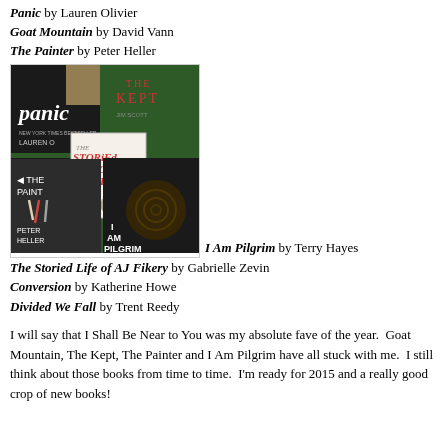Panic by Lauren Olivier
Goat Mountain by David Vann
The Painter by Peter Heller
[Figure (photo): Collage of book covers: Panic (Lauren Oliver), The Kept, The Storied Life of AJ Fikry, The Painter (Peter Heller), I Am Pilgrim]
I Am Pilgrim by Terry Hayes
The Storied Life of AJ Fikery by Gabrielle Zevin
Conversion by Katherine Howe
Divided We Fall by Trent Reedy
I will say that I Shall Be Near to You was my absolute fave of the year.  Goat Mountain, The Kept, The Painter and I Am Pilgrim have all stuck with me.  I still think about those books from time to time.  I'm ready for 2015 and a really good crop of new books!